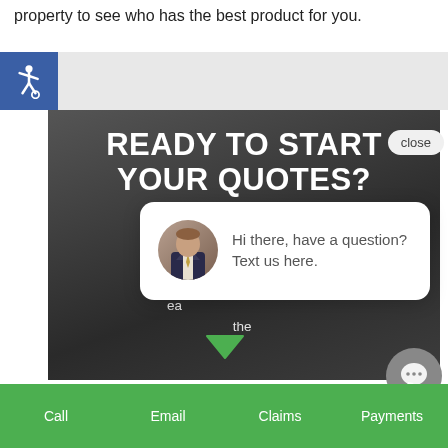property to see who has the best product for you.
[Figure (screenshot): Accessibility wheelchair icon in blue square]
[Figure (screenshot): Dark banner with text READY TO START YOUR QUOTES? and partial sub-text We make the process super easy... with a close button overlay and a chat popup showing a man's avatar and the text: Hi there, have a question? Text us here. A green chevron/down arrow is visible below. A gray chat circle icon appears at bottom right.]
Call   Email   Claims   Payments